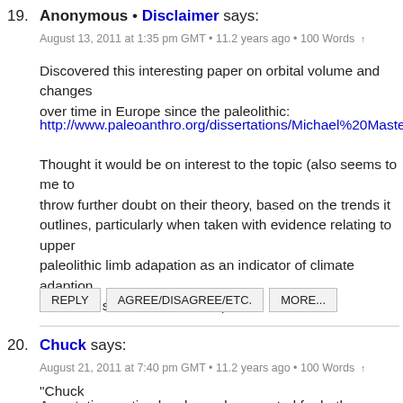19. Anonymous • Disclaimer says:
August 13, 2011 at 1:35 pm GMT • 11.2 years ago • 100 Words ↑
Discovered this interesting paper on orbital volume and changes over time in Europe since the paleolithic:
http://www.paleoanthro.org/dissertations/Michael%20Masters.pc
Thought it would be on interest to the topic (also seems to me to throw further doubt on their theory, based on the trends it outlines, particularly when taken with evidence relating to upper paleolithic limb adapation as an indicator of climate adaption, and other similar lines of data).
REPLY   AGREE/DISAGREE/ETC.   MORE...
20. Chuck says:
August 21, 2011 at 7:40 pm GMT • 11.2 years ago • 100 Words ↑
"Chuck
Assortative mating has been documented for both intelligence